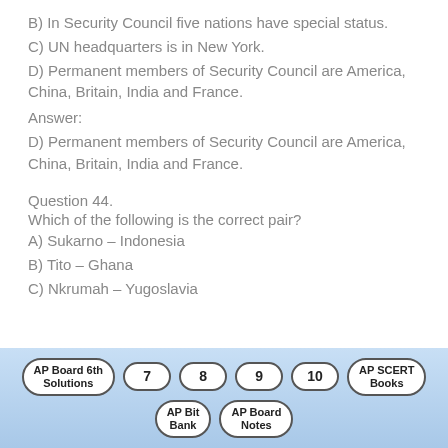B) In Security Council five nations have special status.
C) UN headquarters is in New York.
D) Permanent members of Security Council are America, China, Britain, India and France.
Answer:
D) Permanent members of Security Council are America, China, Britain, India and France.
Question 44.
Which of the following is the correct pair?
A) Sukarno – Indonesia
B) Tito – Ghana
C) Nkrumah – Yugoslavia
AP Board 6th Solutions | 7 | 8 | 9 | 10 | AP SCERT Books | AP Bit Bank | AP Board Notes